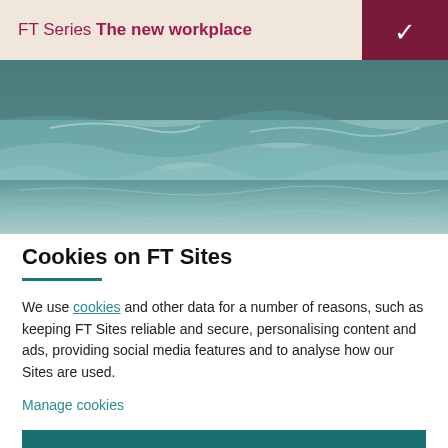FT Series The new workplace
[Figure (photo): Ocean/water surface with teal-grey tones, waves and ripples visible, used as a hero banner image]
Cookies on FT Sites
We use cookies and other data for a number of reasons, such as keeping FT Sites reliable and secure, personalising content and ads, providing social media features and to analyse how our Sites are used.
Manage cookies
Accept & continue